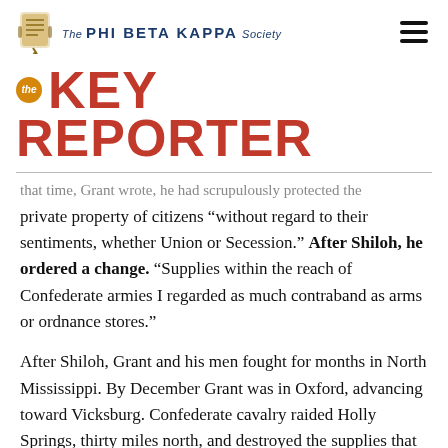The Phi Beta Kappa Society
The KEY REPORTER
that time, Grant wrote, he had scrupulously protected the private property of citizens “without regard to their sentiments, whether Union or Secession.” After Shiloh, he ordered a change. “Supplies within the reach of Confederate armies I regarded as much contraband as arms or ordnance stores.”
After Shiloh, Grant and his men fought for months in North Mississippi. By December Grant was in Oxford, advancing toward Vicksburg. Confederate cavalry raided Holly Springs, thirty miles north, and destroyed the supplies that Grant had amassed. Grant halted his drive south, but he was unfazed. He sent out foragers, “all the wagons we